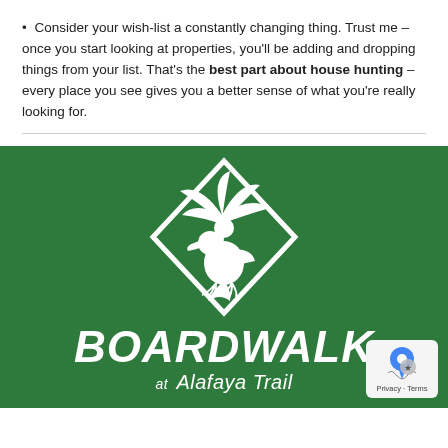Consider your wish-list a constantly changing thing. Trust me – once you start looking at properties, you'll be adding and dropping things from your list. That's the best part about house hunting – every place you see gives you a better sense of what you're really looking for.
[Figure (logo): Boardwalk at Alafaya Trail logo on a green background. Features a white diamond-shaped border containing a pelican bird under a palm tree. Below the diamond shape is the bold italic text 'BOARDWALK' and beneath that 'at Alafaya Trail'.]